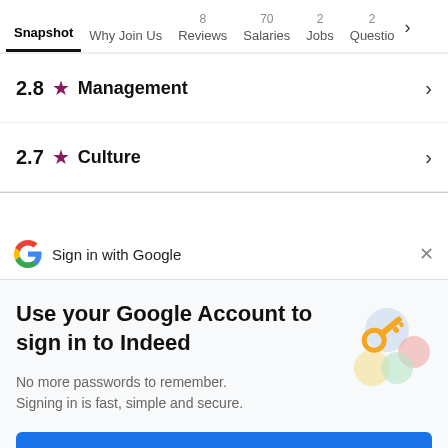Snapshot  Why Join Us  8 Reviews  70 Salaries  2 Jobs  2 Questions
2.8 ★ Management
2.7 ★ Culture
Sign in with Google
Use your Google Account to sign in to Indeed
No more passwords to remember. Signing in is fast, simple and secure.
Continue